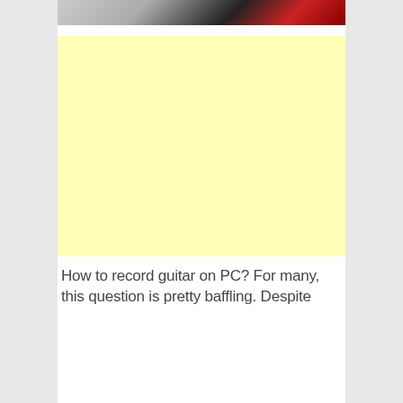[Figure (photo): Partial photo of a person, appears to show dark clothing and red background, cropped at top]
[Figure (other): Light yellow advertisement block placeholder]
How to record guitar on PC? For many, this question is pretty baffling. Despite